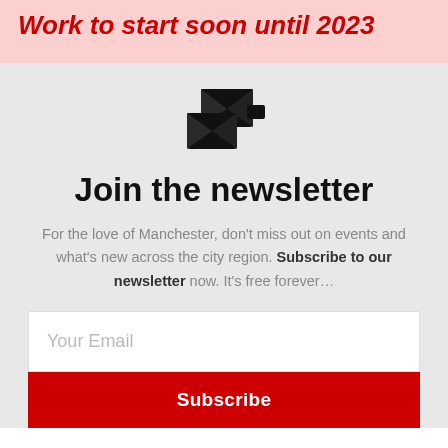Work to start soon until 2023
[Figure (illustration): Newsletter icon: two overlapping envelopes/cards in black]
Join the newsletter
For the love of Manchester, don't miss out on events and what's new across the city region. Subscribe to our newsletter now. It's free forever…
Your Email
Subscribe